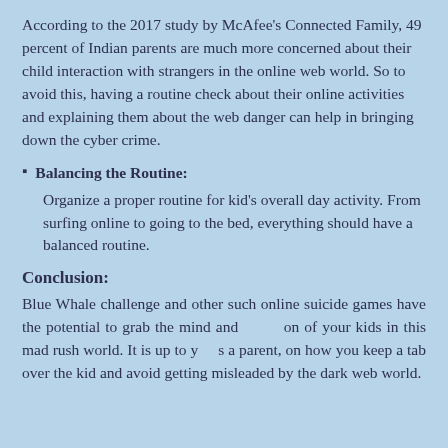According to the 2017 study by McAfee's Connected Family, 49 percent of Indian parents are much more concerned about their child interaction with strangers in the online web world. So to avoid this, having a routine check about their online activities and explaining them about the web danger can help in bringing down the cyber crime.
Balancing the Routine: Organize a proper routine for kid's overall day activity. From surfing online to going to the bed, everything should have a balanced routine.
Conclusion:
Blue Whale challenge and other such online suicide games have the potential to grab the mind and attention of your kids in this mad rush world. It is up to you as a parent, on how you keep a tab over the kid and avoid getting misleaded by the dark web world.